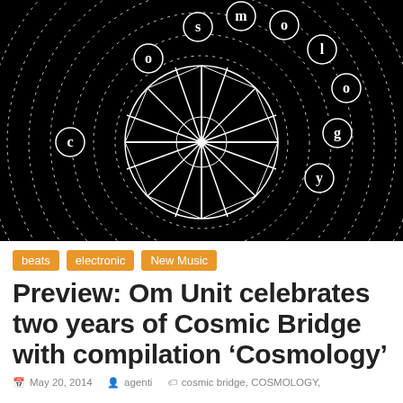[Figure (illustration): Black background album artwork showing concentric dashed circles with letters spelling 'cosmology' placed at various positions around the circles, and a stylized geometric wheel/compass rose design in the center.]
beats
electronic
New Music
Preview: Om Unit celebrates two years of Cosmic Bridge with compilation ‘Cosmology’
May 20, 2014  agenti  cosmic bridge, COSMOLOGY,